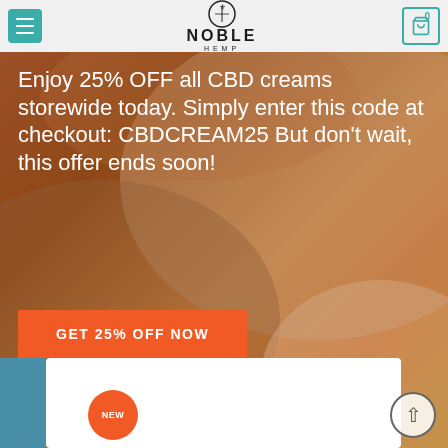[Figure (screenshot): Noble Hemp website screenshot showing navbar with hamburger menu, Noble Hemp logo, and cart icon on a light grey background.]
Enjoy 25% OFF all CBD creams storewide today. Simply enter this code at checkout: CBDCREAM25 But don't wait, this offer ends soon!
GET 25% OFF NOW
[Figure (photo): White product box/package shown on a white card background. A 'NEW' badge in orange is overlaid on the left side.]